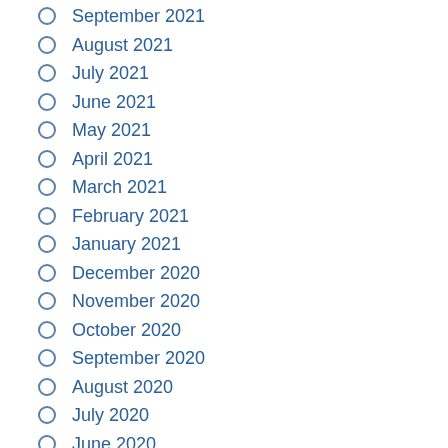September 2021
August 2021
July 2021
June 2021
May 2021
April 2021
March 2021
February 2021
January 2021
December 2020
November 2020
October 2020
September 2020
August 2020
July 2020
June 2020
January 2020
April 2019
May 2018
October 2016